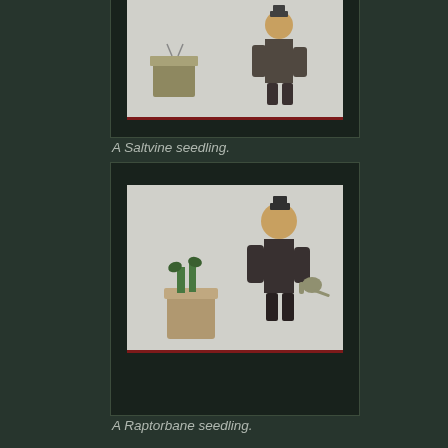[Figure (photo): A partial screenshot showing a Saltvine seedling scene with a character/figure and a bucket on a shelf, cropped at the top of the page.]
A Saltvine seedling.
[Figure (photo): A screenshot showing a Raptorbane seedling scene with a character/figure holding a watering can and a potted plant on a shelf.]
A Raptorbane seedling.
| v·d·e·h | Items | [Collapse] |
| --- | --- | --- |
|  | Consumables |  |
| [battery icon] | Battery Cell (Fulgurium) |  |
| [chemical icon] | Chemicals |  |